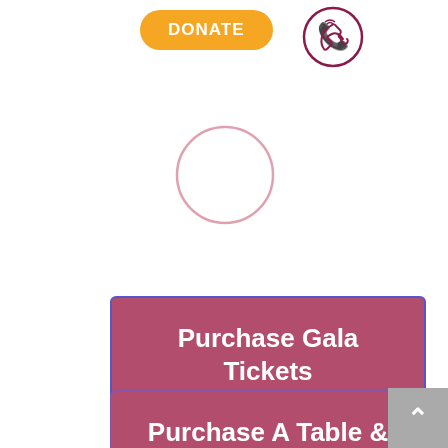[Figure (other): Orange rounded rectangle DONATE button]
[Figure (other): Phone/call icon in dark red circle outline]
[Figure (other): Loading spinner circle outline in light pink]
[Figure (other): Purchase Gala Tickets button in dark rose/mauve color]
[Figure (other): Purchase A Table & Save button in dark rose/mauve color, partially visible]
[Figure (other): Gray scroll-to-top button with upward caret in bottom right corner]